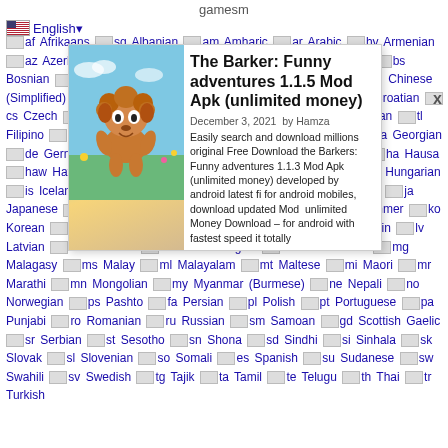gamesm
English▾
[Figure (screenshot): App store screenshot showing a cartoon character game image on a blue/green background]
The Barker: Funny adventures 1.1.5 Mod Apk (unlimited money)
December 3, 2021  by Hamza
Easily search and download millions original Free Download
the Barkers: Funny adventures 1.1.3 Mod Apk (unlimited money) developed by android latest fi for android mobiles, download updated Mod  unlimited Money Download – for android with fastest speed it totally
Afrikaans Albanian Amharic Arabic Armenian Azerbaijani Basque Belarusian Bengali Bosnian Bulgarian Catalan Cebuano Chinese (Simplified) Chinese (Traditional) Corsican Croatian Czech Danish Dutch Esperanto Estonian Filipino Finnish French Frisian Galician Georgian German Greek Gujarati Haitian Creole Hausa Hawaiian Hebrew Hindi Hmong Hungarian Icelandic Igbo Indonesian Irish Italian Japanese Javanese Kannada Kazakh Khmer Korean Kurdish (Kurmanji) Kyrgyz Lao Latin Latvian Lithuanian Luxembourgish Macedonian Malagasy Malay Malayalam Maltese Maori Marathi Mongolian Myanmar (Burmese) Nepali Norwegian Pashto Persian Polish Portuguese Punjabi Romanian Russian Samoan Scottish Gaelic Serbian Sesotho Shona Sindhi Sinhala Slovak Slovenian Somali Spanish Sudanese Swahili Swedish Tajik Tamil Telugu Thai Turkish